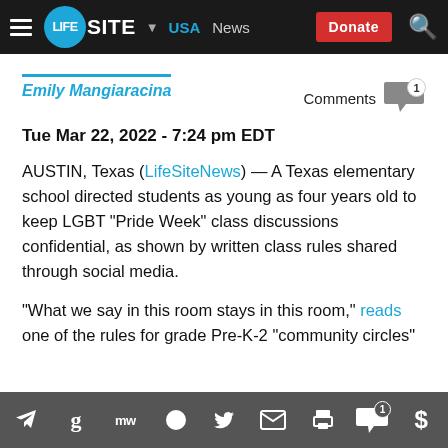LifeSite · USA · News · Donate
Emily Mangiaracina
Comments 1
Tue Mar 22, 2022 - 7:24 pm EDT
AUSTIN, Texas (LifeSiteNews) — A Texas elementary school directed students as young as four years old to keep LGBT "Pride Week" class discussions confidential, as shown by written class rules shared through social media.
“What we say in this room stays in this room,” reads one of the rules for grade Pre-K-2 “community circles”
Share icons: Telegram, Gettr, MeWe, Facebook, Twitter, Email, Print, Comments (1), Donate